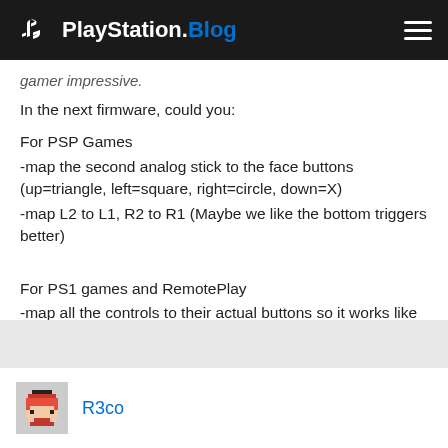PlayStation.Blog
gamer impressive.
In the next firmware, could you:
For PSP Games
-map the second analog stick to the face buttons (up=triangle, left=square, right=circle, down=X)
-map L2 to L1, R2 to R1 (Maybe we like the bottom triggers better)
For PS1 games and RemotePlay
-map all the controls to their actual buttons so it works like a full Dualshock
R3co